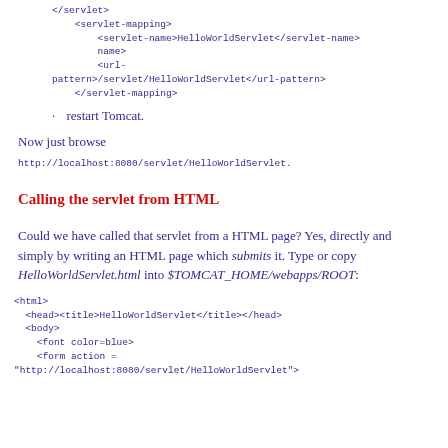</servlet>
    <servlet-mapping>
        <servlet-name>HelloWorldServlet</servlet-name>
        <url-pattern>/servlet/HelloWorldServlet</url-pattern>
    </servlet-mapping>
restart Tomcat.
Now just browse
http://localhost:8080/servlet/HelloWorldServlet.
Calling the servlet from HTML
Could we have called that servlet from a HTML page? Yes, directly and simply by writing an HTML page which submits it. Type or copy HelloWorldServlet.html into $TOMCAT_HOME/webapps/ROOT:
<html>
  <head><title>HelloWorldServlet</title></head>
  <body>
    <font color=blue>
    <form action =
"http://localhost:8080/servlet/HelloWorldServlet">